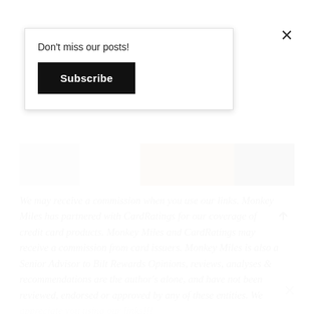Don't miss our posts!
Subscribe
[Figure (photo): A horizontal photo strip showing parts of images including what appears to be a fluffy brown animal or object, dark background sections, and light sections]
We may receive a commission when you use our links. Monkey Miles has partnered with CardRatings for our coverage of credit card products. Monkey Miles and CardRatings may receive a commission from card issuers. Monkey Miles is also a Senior Advisor to Bilt Rewards Opinions, reviews, analyses & recommendations are the author's alone, and have not been reviewed, endorsed or approved by any of these entities. We appreciate you using our links!!!